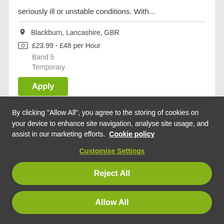seriously ill or unstable conditions. With...
Blackburn, Lancashire, GBR
£23.99 - £48 per Hour
Band 5
Temporary
Apply
By clicking "Allow All", you agree to the storing of cookies on your device to enhance site navigation, analyse site usage, and assist in our marketing efforts. Cookie policy
Customise Settings
Reject All
Allow All